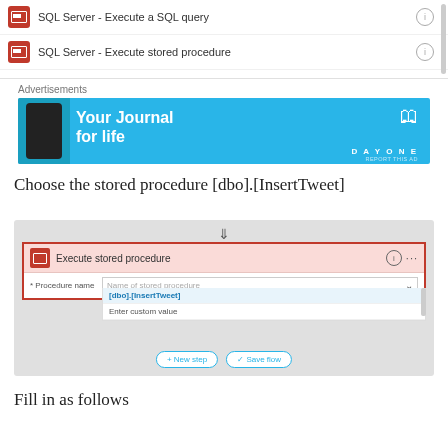[Figure (screenshot): SQL Server action list showing 'SQL Server - Execute a SQL query' and 'SQL Server - Execute stored procedure' with info icons and a scrollbar on the right]
Advertisements
[Figure (photo): Advertisement banner for Day One app - 'Your Journal for life' on blue background with phone graphic]
Choose the stored procedure [dbo].[InsertTweet]
[Figure (screenshot): Screenshot showing Execute stored procedure card with dropdown showing [dbo].[InsertTweet] selected, with New step and Save flow buttons]
Fill in as follows